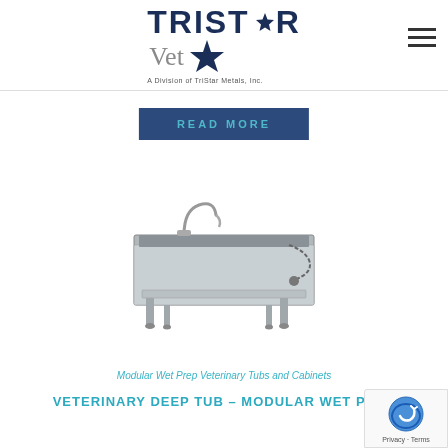[Figure (logo): TriStar Vet logo with star graphic, text reads TRISTAR Vet, A Division of TriStar Metals, Inc.]
READ MORE
[Figure (photo): Stainless steel veterinary deep tub with faucet and hose attachment, mounted on legs with lower shelf]
Modular Wet Prep Veterinary Tubs and Cabinets
VETERINARY DEEP TUB – MODULAR WET PREP